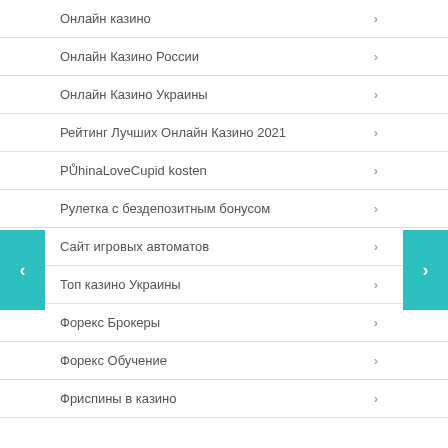Онлайн казино
Онлайн Казино России
Онлайн Казино Украины
Рейтинг Лучших Онлайн Казино 2021
PŮhinaLoveCupid kosten
Рулетка с бездепозитным бонусом
Сайт игровых автоматов
Топ казино Украины
Форекс Брокеры
Форекс Обучение
Фриспины в казино